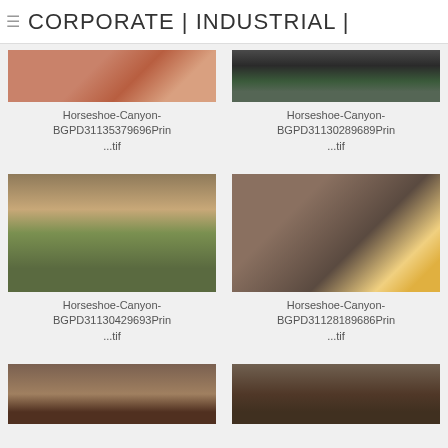≡  CORPORATE | INDUSTRIAL |
[Figure (photo): Cropped top portion of a photo showing reddish rock/canyon texture - Horseshoe Canyon]
Horseshoe-Canyon-BGPD31135379696Prin ...tif
[Figure (photo): Cropped top portion of a photo showing people with motorcycles/bikes - Horseshoe Canyon]
Horseshoe-Canyon-BGPD31130289689Prin ...tif
[Figure (photo): Full photo of a group of hikers walking along a trail in Horseshoe Canyon with dramatic badlands rock formations in background]
Horseshoe-Canyon-BGPD31130429693Prin ...tif
[Figure (photo): Full photo of a person with blonde hair and sunglasses reading a yellow pamphlet/map outdoors at Horseshoe Canyon]
Horseshoe-Canyon-BGPD31128189686Prin ...tif
[Figure (photo): Partial bottom-cropped photo showing dark rocky/muddy ground texture - Horseshoe Canyon]
[Figure (photo): Partial bottom-cropped photo showing dark rocky/muddy ground texture - Horseshoe Canyon]